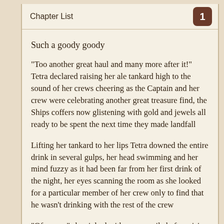Chapter List
Such a goody goody
“Too another great haul and many more after it!” Tetra declared raising her ale tankard high to the sound of her crews cheering as the Captain and her crew were celebrating another great treasure find, the Ships coffers now glistening with gold and jewels all ready to be spent the next time they made landfall
Lifting her tankard to her lips Tetra downed the entire drink in several gulps, her head swimming and her mind fuzzy as it had been far from her first drink of the night, her eyes scanning the room as she looked for a particular member of her crew only to find that he wasn’t drinking with the rest of the crew
“Of course” she sighed with a wry smile before rising from her seat and half staggering out of the mess hall, leaving her crew to their celebrations as she headed up to the deck of the ship